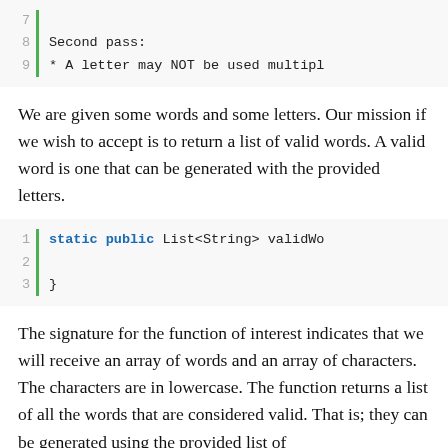[Figure (screenshot): Code block showing lines 7-9 with line numbers and green vertical bar. Line 8: 'Second pass:' and line 9: '* A letter may NOT be used multipl']
We are given some words and some letters. Our mission if we wish to accept is to return a list of valid words. A valid word is one that can be generated with the provided letters.
[Figure (screenshot): Code block showing lines 1-3. Line 1: 'static public List<String> validWo', Line 2: empty, Line 3: '}']
The signature for the function of interest indicates that we will receive an array of words and an array of characters. The characters are in lowercase. The function returns a list of all the words that are considered valid. That is; they can be generated using the provided list of